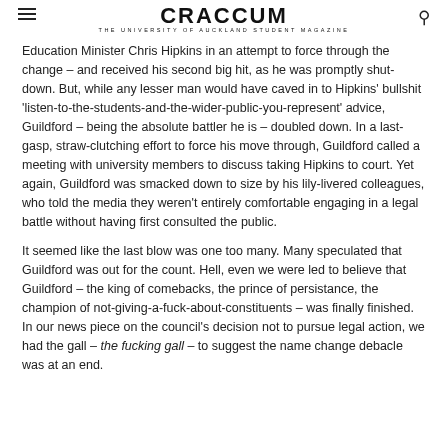CRACCUM — THE UNIVERSITY OF AUCKLAND STUDENT MAGAZINE
Education Minister Chris Hipkins in an attempt to force through the change – and received his second big hit, as he was promptly shut-down. But, while any lesser man would have caved in to Hipkins' bullshit 'listen-to-the-students-and-the-wider-public-you-represent' advice, Guildford – being the absolute battler he is – doubled down. In a last-gasp, straw-clutching effort to force his move through, Guildford called a meeting with university members to discuss taking Hipkins to court. Yet again, Guildford was smacked down to size by his lily-livered colleagues, who told the media they weren't entirely comfortable engaging in a legal battle without having first consulted the public.
It seemed like the last blow was one too many. Many speculated that Guildford was out for the count. Hell, even we were led to believe that Guildford – the king of comebacks, the prince of persistance, the champion of not-giving-a-fuck-about-constituents – was finally finished. In our news piece on the council's decision not to pursue legal action, we had the gall – the fucking gall – to suggest the name change debacle was at an end.